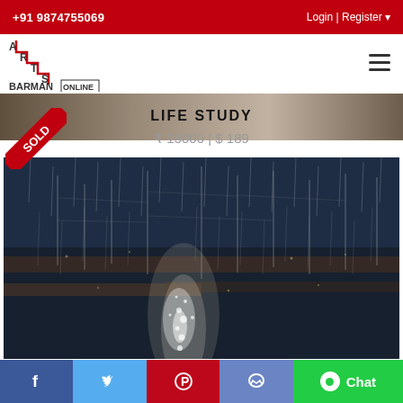+91 9874755069 | Login | Register
[Figure (logo): Arts Barman Online logo with staircase design]
LIFE STUDY
₹ 15000 | $ 189
[Figure (photo): Painting artwork showing a rainy night street scene with lights reflecting on wet road, vertical brush strokes suggesting rain, dark blue and brown tones with bright white highlights]
[Figure (illustration): SOLD diagonal red banner/badge overlaid on top-left of artwork]